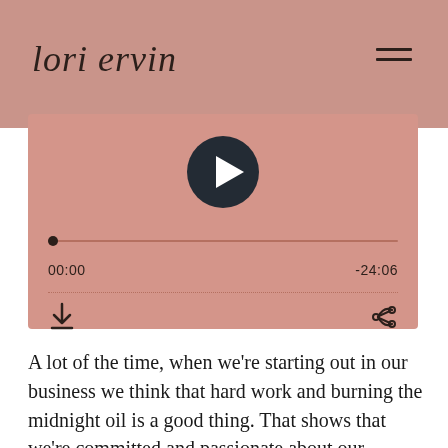lori ervin
[Figure (screenshot): Audio player widget with play button, progress bar at 00:00 out of -24:06 total, download and share icons on a rose/salmon colored background]
A lot of the time, when we're starting out in our business we think that hard work and burning the midnight oil is a good thing. That shows that we're committed and passionate about our business